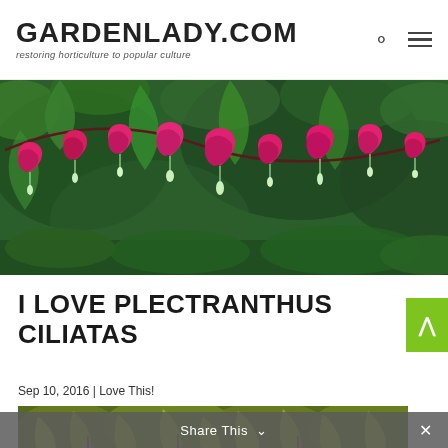GARDENLADY.COM restoring horticulture to popular culture
[Figure (photo): Close-up photo of bleeding heart flowers (Lamprocapnos spectabilis) hanging from a curved stem against a green garden background. Pink heart-shaped flowers with white teardrop-shaped inner petals hanging in a row.]
I LOVE PLECTRANTHUS CILIATAS
Sep 10, 2016 | Love This!
[Figure (photo): Photo of Plectranthus ciliatas plant with yellow-green leaves and small pink/purple flower spikes growing in a garden setting.]
Share This